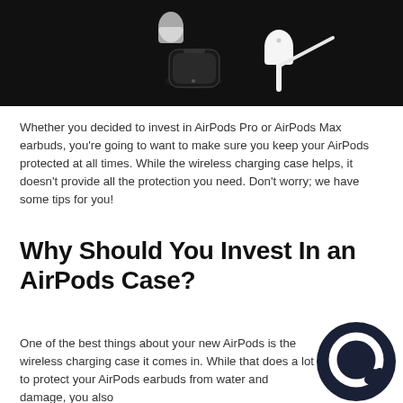[Figure (photo): AirPods and AirPods case on a black background]
Whether you decided to invest in AirPods Pro or AirPods Max earbuds, you're going to want to make sure you keep your AirPods protected at all times. While the wireless charging case helps, it doesn't provide all the protection you need. Don't worry; we have some tips for you!
Why Should You Invest In an AirPods Case?
One of the best things about your new AirPods is the wireless charging case it comes in. While that does a lot to protect your AirPods earbuds from water and damage, you also
[Figure (logo): Dark circular chat/message icon]